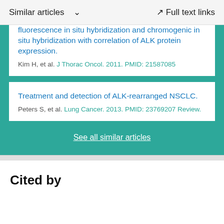Similar articles  ∨    Full text links
fluorescence in situ hybridization and chromogenic in situ hybridization with correlation of ALK protein expression.
Kim H, et al. J Thorac Oncol. 2011. PMID: 21587085
Treatment and detection of ALK-rearranged NSCLC.
Peters S, et al. Lung Cancer. 2013. PMID: 23769207 Review.
See all similar articles
Cited by